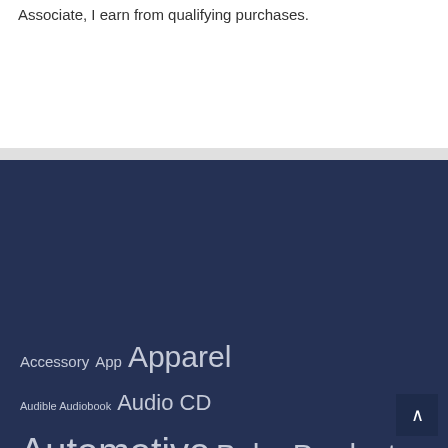Associate, I earn from qualifying purchases.
Accessory
App
Apparel
Audible Audiobook
Audio CD
Automotive
Baby Product
Blu-ray
Board book
Board Game
Camera
CD-ROM
DVD
Electronics
Eyewear
Game
Grocery
Hardcover
Health and Beauty
home
Kindle Edition